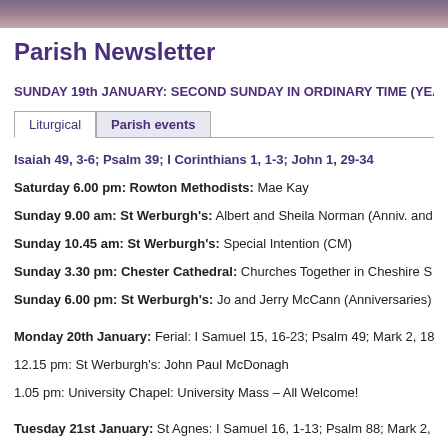Parish Newsletter
SUNDAY 19th JANUARY: SECOND SUNDAY IN ORDINARY TIME (YEA
Liturgical | Parish events (tabs)
Isaiah 49, 3-6; Psalm 39; I Corinthians 1, 1-3; John 1, 29-34
Saturday 6.00 pm: Rowton Methodists: Mae Kay
Sunday 9.00 am: St Werburgh's: Albert and Sheila Norman (Anniv. and
Sunday 10.45 am: St Werburgh's: Special Intention (CM)
Sunday 3.30 pm: Chester Cathedral: Churches Together in Cheshire S
Sunday 6.00 pm: St Werburgh's: Jo and Jerry McCann (Anniversaries)
Monday 20th January: Ferial: I Samuel 15, 16-23; Psalm 49; Mark 2, 18
12.15 pm: St Werburgh's: John Paul McDonagh
1.05 pm: University Chapel: University Mass – All Welcome!
Tuesday 21st January: St Agnes: I Samuel 16, 1-13; Psalm 88; Mark 2,
7.30 am: St Werburgh's: Private Intention (JA)